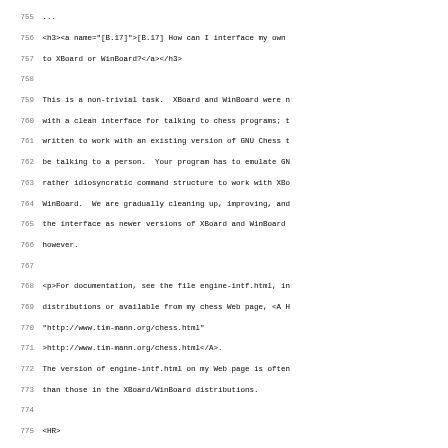755 ...
756 <h3><a name="[B.17]">[B.17] How can I interface my own
757 to XBoard or WinBoard?</a></h3>
758
759 This is a non-trivial task.  XBoard and WinBoard were n
760 with a clean interface for talking to chess programs; t
761 written to work with an existing version of GNU Chess t
762 be talking to a person.  Your program has to emulate GN
763 rather idiosyncratic command structure to work with XBo
764 WinBoard.  We are gradually cleaning up, improving, and
765 the interface as newer versions of XBoard and WinBoard
766 however.
767
768 <p>For documentation, see the file engine-intf.html, in
769 distributions or available from my chess Web page, <A H
770 "http://www.tim-mann.org/chess.html"
771 >http://www.tim-mann.org/chess.html</A>.
772 The version of engine-intf.html on my Web page is often
773 than those in the XBoard/WinBoard distributions.
774
775 <HR>
776 <h3><a name="[B.18]">[B.18] How can I recompile WinBoar
777
778 The source code for WinBoard is available from the auth
779 <A HREF=
780 "http://www.tim-mann.org/chess.html"
781 >http://www.tim-mann.org/chess.html</A>.
782
783 <p>WinBoard is currently developed using Microsoft Visu
784 You can build the program from the MSVC++ GUI by openin
785 file (winboard.dsp) and telling MSVC++ to build the pro
786 also build it from the the command line by using the nm
787 supplied with MSVC++.